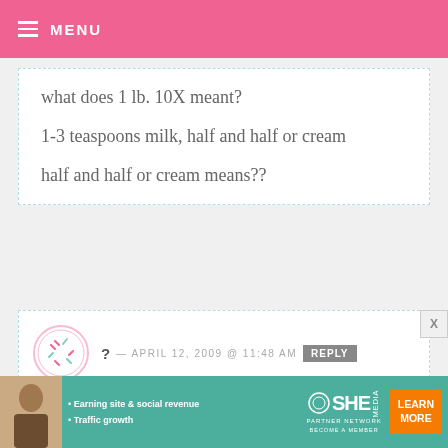MENU
what does 1 lb. 10X meant?

1-3 teaspoons milk, half and half or cream

half and half or cream means??
? — APRIL 12, 2009 @ 11:48 AM   REPLY

Hi, abt the buttercream i've some questions...

1 cup (2 sticks) butter (room
[Figure (other): Advertisement banner for SHE Partner Network — Earning site & social revenue, Traffic growth, LEARN MORE button]